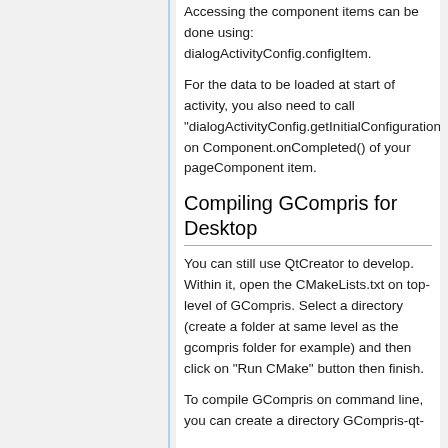Accessing the component items can be done using: dialogActivityConfig.configItem.
For the data to be loaded at start of activity, you also need to call "dialogActivityConfig.getInitialConfiguration()" on Component.onCompleted() of your pageComponent item.
Compiling GCompris for Desktop
You can still use QtCreator to develop. Within it, open the CMakeLists.txt on top-level of GCompris. Select a directory (create a folder at same level as the gcompris folder for example) and then click on "Run CMake" button then finish.
To compile GCompris on command line, you can create a directory GCompris-qt-